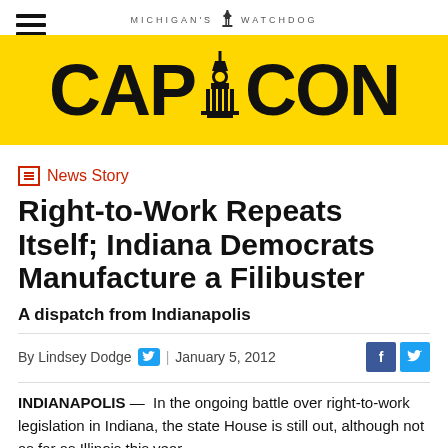MICHIGAN'S WATCHDOG — CAPCON
News Story
Right-to-Work Repeats Itself; Indiana Democrats Manufacture a Filibuster
A dispatch from Indianapolis
By Lindsey Dodge | January 5, 2012
INDIANAPOLIS — In the ongoing battle over right-to-work legislation in Indiana, the state House is still out, although not as far as Illinois this year.
An anticipated joint committee hearing of the House and the